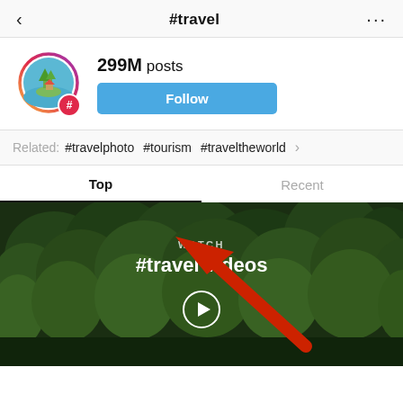< #travel ...
299M posts
Follow
Related: #travelphoto #tourism #traveltheworld
Top   Recent
[Figure (screenshot): Instagram hashtag page for #travel showing 299M posts, Follow button, related hashtags (#travelphoto, #tourism, #traveltheworld), Top/Recent tabs, a video banner showing a lush green forest with text 'WATCH #travel videos' and a play button, and a large red arrow pointing to the related hashtags section.]